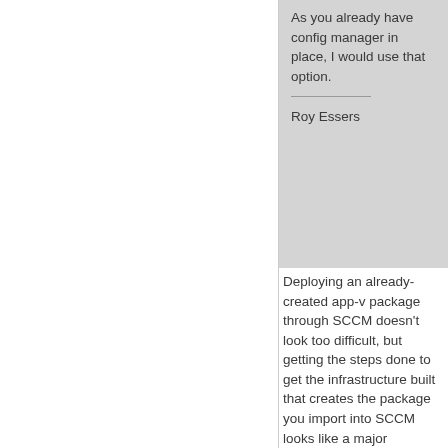As you already have config manager in place, I would use that option.
Roy Essers
Deploying an already-created app-v package through SCCM doesn't look too difficult, but getting the steps done to get the infrastructure built that creates the package you import into SCCM looks like a major undertaking.
How does this compare to the amount of time and resources required to deploy apps as a RDS remote app?
Edit:  I just noticed this also requires full SQL server.  Which is a lot to ask if we are only going to